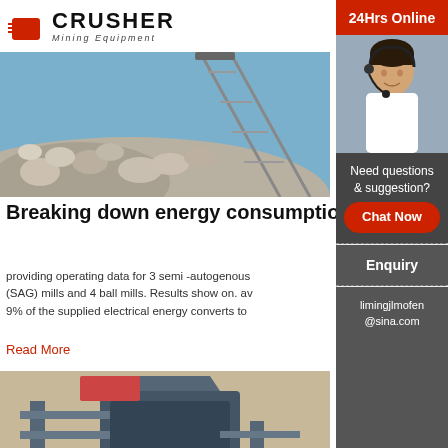[Figure (logo): Crusher Mining Equipment logo with shopping bag icon and bold CRUSHER text]
[Figure (photo): Industrial conveyor belt with crushed rocks/aggregate against blue sky]
Breaking down energy consumption in industrial
providing operating data for 3 semi -autogenous (SAG) mills and 4 ball mills. Results show on. av 9% of the supplied electrical energy converts to
Read More
[Figure (photo): Large industrial crusher/grinding mill machinery viewed from above]
Energy consumption in common f grinding mills
[Figure (photo): 24Hrs Online sidebar with customer service representative wearing headset]
Need questions & suggestion?
Chat Now
Enquiry
limingjlmofen@sina.com